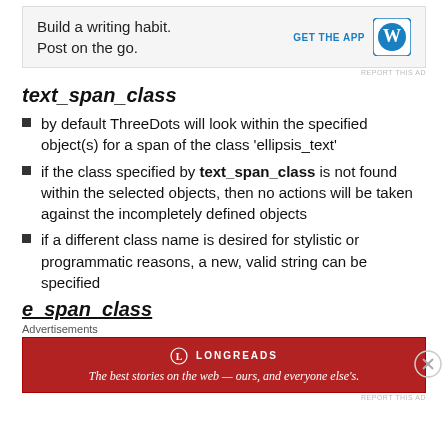[Figure (other): WordPress advertisement banner: 'Build a writing habit. Post on the go.' with GET THE APP button and WordPress logo]
text_span_class
by default ThreeDots will look within the specified object(s) for a span of the class 'ellipsis_text'
if the class specified by text_span_class is not found within the selected objects, then no actions will be taken against the incompletely defined objects
if a different class name is desired for stylistic or programmatic reasons, a new, valid string can be specified
e_span_class
Advertisements
[Figure (other): Longreads red advertisement banner: 'The best stories on the web — ours, and everyone else's.']